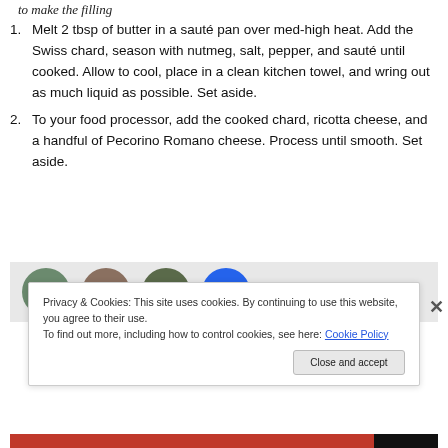to make the filling
Melt 2 tbsp of butter in a sauté pan over med-high heat. Add the Swiss chard, season with nutmeg, salt, pepper, and sauté until cooked. Allow to cool, place in a clean kitchen towel, and wring out as much liquid as possible. Set aside.
To your food processor, add the cooked chard, ricotta cheese, and a handful of Pecorino Romano cheese. Process until smooth. Set aside.
[Figure (photo): Row of circular avatar photos of people, with a blue circle containing an arrow icon at the end, on a light grey background strip.]
Privacy & Cookies: This site uses cookies. By continuing to use this website, you agree to their use.
To find out more, including how to control cookies, see here: Cookie Policy
Close and accept